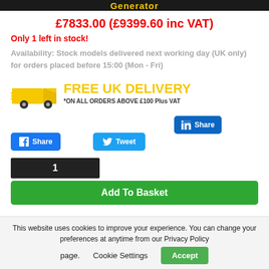[Figure (screenshot): Top banner with yellow text 'Generator' on dark/black background]
£7833.00 (£9399.60 inc VAT)
Only 1 left in stock!
Availability: Stock models delivered next working day (UK only) for orders placed before 15:00 (Mon - Fri)
[Figure (logo): Free UK Delivery banner - truck graphic with 'FREE UK DELIVERY *ON ALL ORDERS ABOVE £100 Plus VAT']
[Figure (screenshot): Social share buttons: Facebook Share, Tweet, LinkedIn Share, and a share count box showing 1]
Add To Basket
This website uses cookies to improve your experience. You can change your preferences at anytime from our Privacy Policy page.
Cookie Settings
Accept